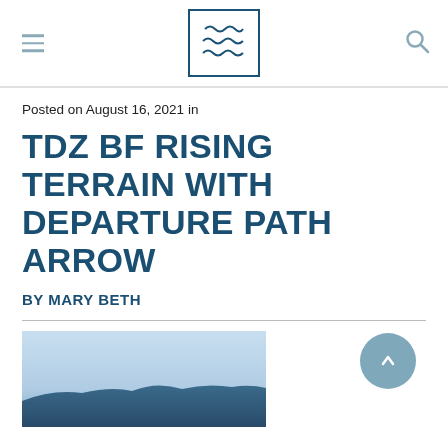Navigation header with hamburger menu, logo, and search icon
Posted on August 16, 2021 in
TDZ BF RISING TERRAIN WITH DEPARTURE PATH ARROW
BY MARY BETH
[Figure (photo): Aerial or landscape photo showing terrain with blue sky, partially visible at bottom of page]